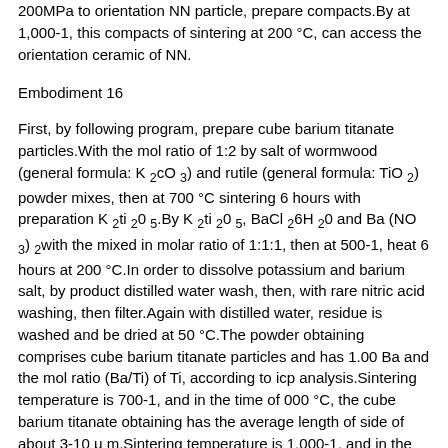200MPa to orientation NN particle, prepare compacts.By at 1,000-1, this compacts of sintering at 200 °C, can access the orientation ceramic of NN.
Embodiment 16
First, by following program, prepare cube barium titanate particles.With the mol ratio of 1:2 by salt of wormwood (general formula: K2cO3) and rutile (general formula: TiO2) powder mixes, then at 700 °C sintering 6 hours with preparation K2ti2O5.By K2ti2O5, BaCl26H2O and Ba (NO3)2with the mixed in molar ratio of 1:1:1, then at 500-1, heat 6 hours at 200 °C.In order to dissolve potassium and barium salt, by product distilled water wash, then, with rare nitric acid washing, then filter.Again with distilled water, residue is washed and be dried at 50 °C.The powder obtaining comprises cube barium titanate particles and has 1.00 Ba and the mol ratio (Ba/Ti) of Ti, according to icp analysis.Sintering temperature is 700-1, and in the time of 000 °C, the cube barium titanate obtaining has the average length of side of about 3-10 μm.Sintering temperature is 1,000-1, and in the time of 200 °C, cube barium titanate has the average length of side of about 1-10 μm.